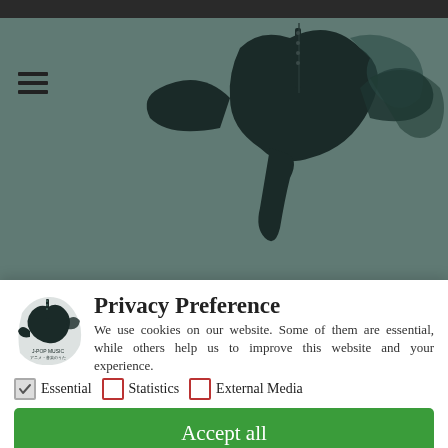[Figure (screenshot): Website background showing a dark teal/green background with a silhouette of a person playing guitar and a bird, partially obscured by a privacy preference modal dialog. A hamburger menu icon is visible on the left side. The top has a dark browser bar.]
Privacy Preference
We use cookies on our website. Some of them are essential, while others help us to improve this website and your experience.
Essential (checked)
Statistics (unchecked)
External Media (unchecked)
Accept all
Save
Individual Privacy Preferences
Cookie Details | Privacy Policy | Imprint